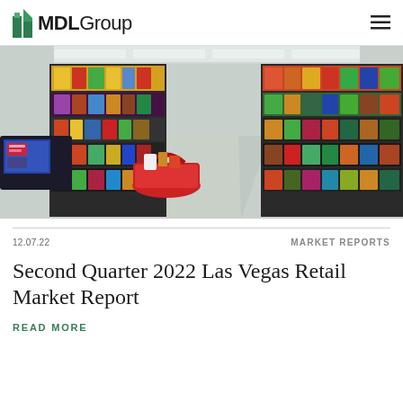MDLGroup
[Figure (photo): Interior of a grocery store aisle with colorful product shelves, a red shopping basket in the foreground, and a laptop/screen visible on the left side.]
12.07.22
MARKET REPORTS
Second Quarter 2022 Las Vegas Retail Market Report
READ MORE